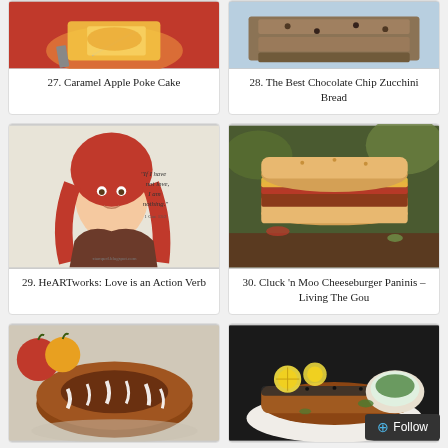[Figure (photo): Caramel Apple Poke Cake - food photo on red plate]
27. Caramel Apple Poke Cake
[Figure (photo): The Best Chocolate Chip Zucchini Bread - sliced loaf]
28. The Best Chocolate Chip Zucchini Bread
[Figure (illustration): HeARTworks illustration - portrait of woman with red hair and quote text]
29. HeARTworks: Love is an Action Verb
[Figure (photo): Cluck 'n Moo Cheeseburger Paninis - sandwich photo]
30. Cluck 'n Moo Cheeseburger Paninis – Living The Gou
[Figure (photo): Bundt cake with white glaze drizzle and apples]
[Figure (photo): Fish dish with lemon and green sauce in bowl]